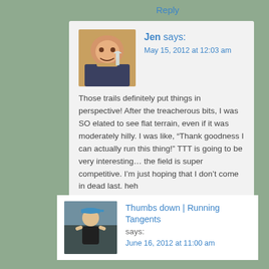Reply
[Figure (photo): Avatar photo of Jen, a woman smiling holding a glass]
Jen says:
May 15, 2012 at 12:03 am
Those trails definitely put things in perspective! After the treacherous bits, I was SO elated to see flat terrain, even if it was moderately hilly. I was like, “Thank goodness I can actually run this thing!” TTT is going to be very interesting… the field is super competitive. I’m just hoping that I don’t come in dead last. heh
Reply
[Figure (photo): Avatar photo of a woman running outdoors wearing a blue cap]
Thumbs down | Running Tangents says:
June 16, 2012 at 11:00 am